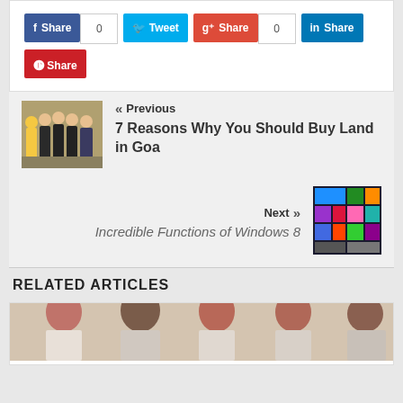[Figure (infographic): Social share buttons: Facebook Share (0), Tweet, Google+ Share (0), LinkedIn Share, Pinterest Share]
[Figure (photo): Previous article thumbnail: people sitting in a row (job interview scene)]
« Previous
7 Reasons Why You Should Buy Land in Goa
[Figure (screenshot): Next article thumbnail: Windows 8 Start screen]
Next »
Incredible Functions of Windows 8
RELATED ARTICLES
[Figure (photo): Related article image: group of young people (5 individuals) with red/brown hair looking downward, light background]